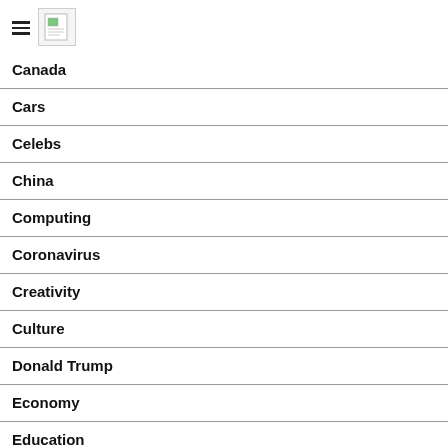[Figure (logo): Hamburger menu icon and logo image (document/newspaper icon)]
Canada
Cars
Celebs
China
Computing
Coronavirus
Creativity
Culture
Donald Trump
Economy
Education
Entertainment